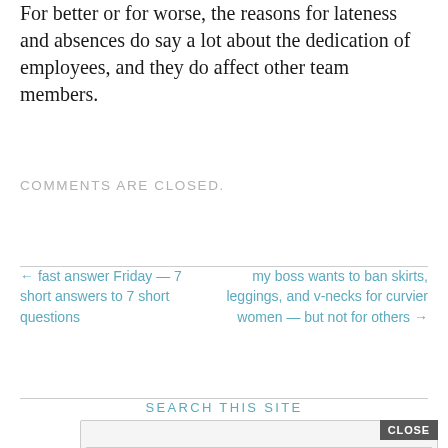For better or for worse, the reasons for lateness and absences do say a lot about the dedication of employees, and they do affect other team members.
COMMENTS ARE CLOSED.
← fast answer Friday — 7 short answers to 7 short questions
my boss wants to ban skirts, leggings, and v-necks for curvier women — but not for others →
SEARCH THIS SITE
ENHANCED BY Google